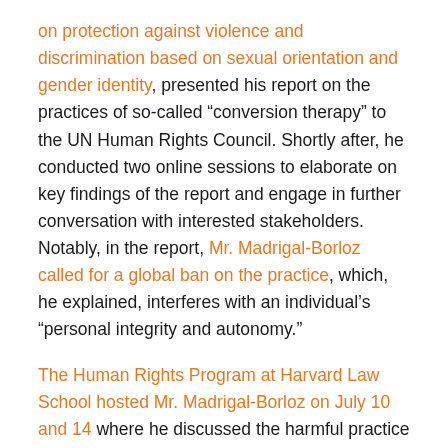on protection against violence and discrimination based on sexual orientation and gender identity, presented his report on the practices of so-called “conversion therapy” to the UN Human Rights Council. Shortly after, he conducted two online sessions to elaborate on key findings of the report and engage in further conversation with interested stakeholders. Notably, in the report, Mr. Madrigal-Borloz called for a global ban on the practice, which, he explained, interferes with an individual’s “personal integrity and autonomy.”
The Human Rights Program at Harvard Law School hosted Mr. Madrigal-Borloz on July 10 and 14 where he discussed the harmful practice of conversion therapy in a virtual launch for the public. As discussed at the event and in the report, conversion therapy is a term used to describe a wide range of interventions, all of which have in common the belief that a person’s sexual orientation or gender identity can and should be changed. These practices rely